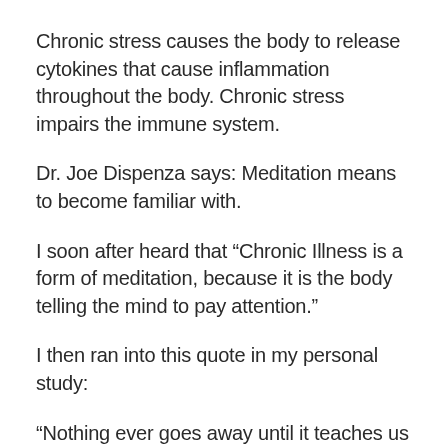Chronic stress causes the body to release cytokines that cause inflammation throughout the body. Chronic stress impairs the immune system.
Dr. Joe Dispenza says: Meditation means to become familiar with.
I soon after heard that “Chronic Illness is a form of meditation, because it is the body telling the mind to pay attention.”
I then ran into this quote in my personal study:
“Nothing ever goes away until it teaches us what we need to know.” – Pema Chodron
My path right now is learning to meditate and learn the things I need to learn before my body starts to break